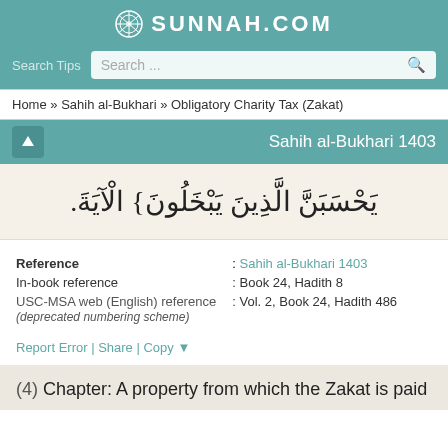SUNNAH.COM
Search Tips  Search ...
Home » Sahih al-Bukhari » Obligatory Charity Tax (Zakat)
Sahih al-Bukhari 1403
يَحْسَبَنَّ الَّذِينَ يَبْخَلُونَ} الْآيَةَ.
| Label | Value |
| --- | --- |
| Reference | : Sahih al-Bukhari 1403 |
| In-book reference | : Book 24, Hadith 8 |
| USC-MSA web (English) reference (deprecated numbering scheme) | : Vol. 2, Book 24, Hadith 486 |
Report Error | Share | Copy ▼
(4)  Chapter: A property from which the Zakat is paid